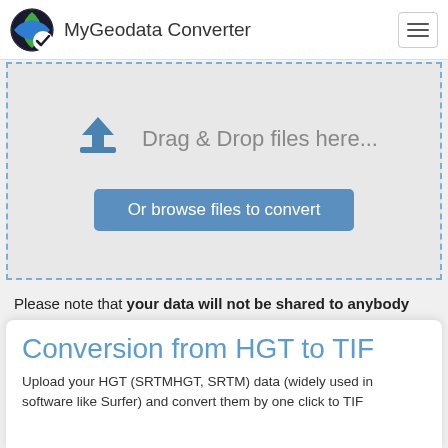MyGeodata Converter
[Figure (screenshot): Upload area with drag and drop zone showing an upload icon and 'Drag & Drop files here...' text, plus an 'Or browse files to convert' button]
Please note that your data will not be shared to anybody unless you do it yourself.
Conversion from HGT to TIF
Upload your HGT (SRTMHGT, SRTM) data (widely used in software like Surfer) and convert them by one click to TIF